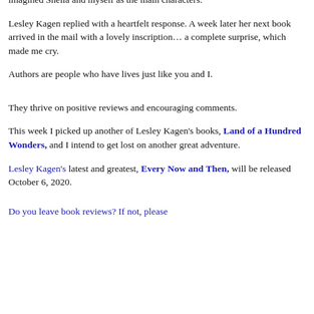imagined Sheila and myself as the main characters.
Lesley Kagen replied with a heartfelt response. A week later her next book arrived in the mail with a lovely inscription… a complete surprise, which made me cry.
Authors are people who have lives just like you and I.
They thrive on positive reviews and encouraging comments.
This week I picked up another of Lesley Kagen's books, Land of a Hundred Wonders, and I intend to get lost on another great adventure.
Lesley Kagen's latest and greatest, Every Now and Then, will be released October 6, 2020.
Do you leave book reviews? If not, please